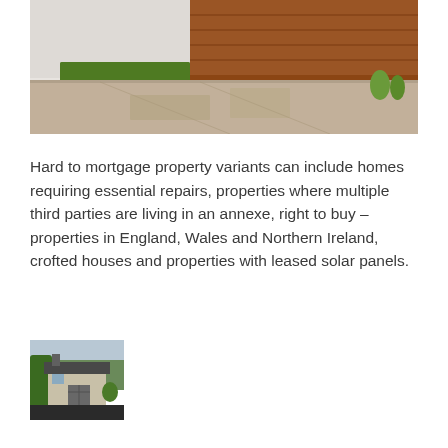[Figure (photo): Exterior photo of a residential property showing a brick house with a large concrete driveway, trimmed hedges, and garden areas in sunlight.]
Hard to mortgage property variants can include homes requiring essential repairs, properties where multiple third parties are living in an annexe, right to buy – properties in England, Wales and Northern Ireland, crofted houses and properties with leased solar panels.
[Figure (photo): Small exterior photo of a detached house with a garage, surrounded by shrubs and trees, with a dark driveway in front.]